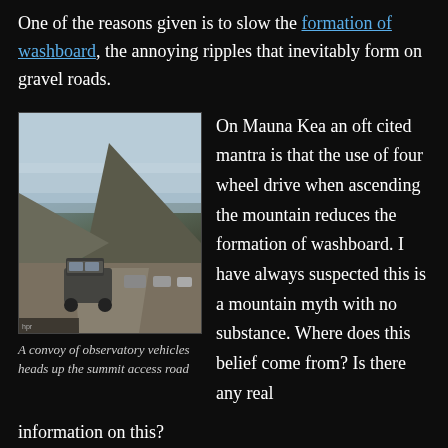One of the reasons given is to slow the formation of washboard, the annoying ripples that inevitably form on gravel roads.
[Figure (photo): A convoy of vehicles on a mountain gravel road, misty sky, hilly terrain, seen from behind]
A convoy of observatory vehicles heads up the summit access road
On Mauna Kea an oft cited mantra is that the use of four wheel drive when ascending the mountain reduces the formation of washboard. I have always suspected this is a mountain myth with no substance. Where does this belief come from? Is there any real information on this?